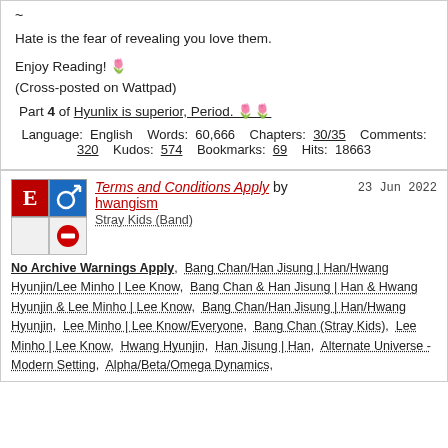~
Hate is the fear of revealing you love them.
Enjoy Reading! 🌷
(Cross-posted on Wattpad)
Part 4 of Hyunlix is superior, Period. 🌷🌷
Language: English  Words: 60,666  Chapters: 30/35  Comments: 320  Kudos: 574  Bookmarks: 69  Hits: 18663
[Figure (other): Rating icon E (red square), male symbol icon (blue square), blank icon, no-entry sign icon]
Terms and Conditions Apply by hwangism  23 Jun 2022  Stray Kids (Band)
No Archive Warnings Apply, Bang Chan/Han Jisung | Han/Hwang Hyunjin/Lee Minho | Lee Know, Bang Chan & Han Jisung | Han & Hwang Hyunjin & Lee Minho | Lee Know, Bang Chan/Han Jisung | Han/Hwang Hyunjin, Lee Minho | Lee Know/Everyone, Bang Chan (Stray Kids), Lee Minho | Lee Know, Hwang Hyunjin, Han Jisung | Han, Alternate Universe - Modern Setting, Alpha/Beta/Omega Dynamics,